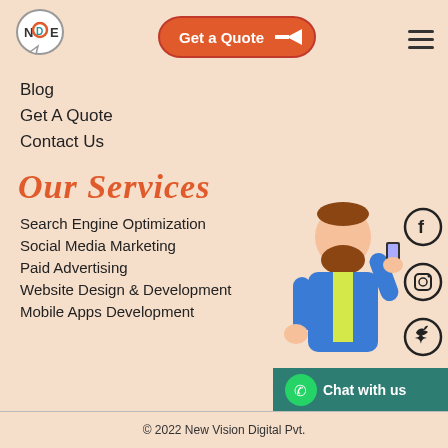[Figure (logo): NDE logo in a speech bubble circle]
[Figure (illustration): Orange 'Get a Quote' button with arrow]
Blog
Get A Quote
Contact Us
Our Services
Search Engine Optimization
Social Media Marketing
Paid Advertising
Website Design & Development
Mobile Apps Development
[Figure (illustration): Cartoon man with beard holding phone and making OK sign, with social media icons (Facebook, Instagram, Twitter, LinkedIn) on the right]
[Figure (illustration): WhatsApp Chat with us button widget]
© 2022 New Vision Digital Pvt.